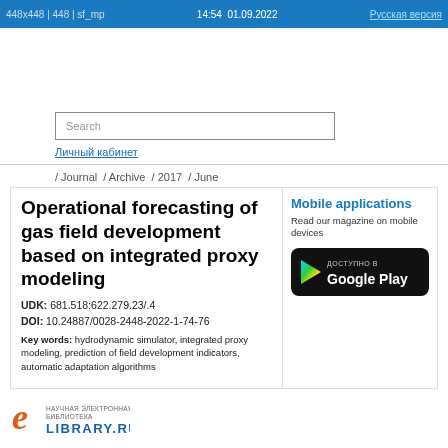448x448 | 448 | sf_mp   14:54  01.09.2022   Русская версия
Search
Личный кабинет
/ Journal / Archive / 2017 / June
Operational forecasting of gas field development based on integrated proxy modeling
UDK: 681.518:622.279.23/.4
DOI: 10.24887/0028-2448-2022-1-74-76
Key words: hydrodynamic simulator, integrated proxy modeling, prediction of field development indicators, automatic adaptation algorithms
Mobile applications
Read our magazine on mobile devices